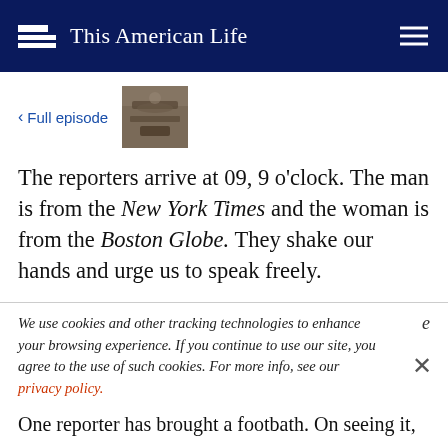This American Life
< Full episode
The reporters arrive at 09, 9 o'clock. The man is from the New York Times and the woman is from the Boston Globe. They shake our hands and urge us to speak freely.
We use cookies and other tracking technologies to enhance your browsing experience. If you continue to use our site, you agree to the use of such cookies. For more info, see our privacy policy.
One reporter has brought a footbath. On seeing it,